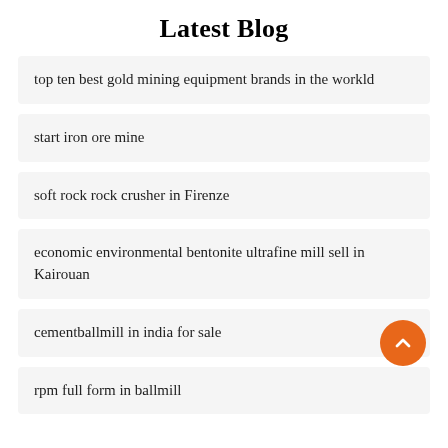Latest Blog
top ten best gold mining equipment brands in the workld
start iron ore mine
soft rock rock crusher in Firenze
economic environmental bentonite ultrafine mill sell in Kairouan
cementballmill in india for sale
rpm full form in ballmill